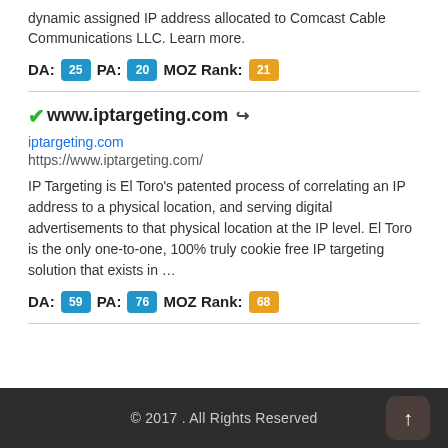dynamic assigned IP address allocated to Comcast Cable Communications LLC. Learn more.
DA: 25  PA: 20  MOZ Rank: 21
✓www.iptargeting.com ↗
iptargeting.com
https://www.iptargeting.com/
IP Targeting is El Toro's patented process of correlating an IP address to a physical location, and serving digital advertisements to that physical location at the IP level. El Toro is the only one-to-one, 100% truly cookie free IP targeting solution that exists in …
DA: 59  PA: 76  MOZ Rank: 68
© 2017 . All Rights Reserved